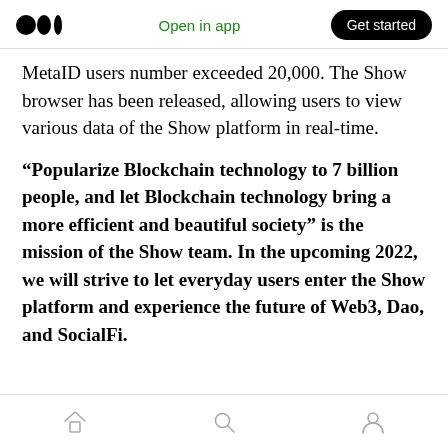Open in app | Get started
MetaID users number exceeded 20,000. The Show browser has been released, allowing users to view various data of the Show platform in real-time.
“Popularize Blockchain technology to 7 billion people, and let Blockchain technology bring a more efficient and beautiful society” is the mission of the Show team. In the upcoming 2022, we will strive to let everyday users enter the Show platform and experience the future of Web3, Dao, and SocialFi.
[Home] [Search] [Profile]